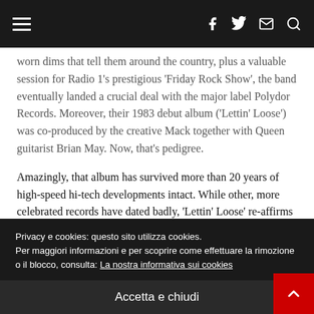Navigation bar with hamburger menu, Facebook, Twitter, Email, and Search icons
worn dims that tell them around the country, plus a valuable session for Radio 1's prestigious 'Friday Rock Show', the band eventually landed a crucial deal with the major label Polydor Records. Moreover, their 1983 debut album ('Lettin' Loose') was co-produced by the creative Mack together with Queen guitarist Brian May. Now, that's pedigree.
Amazingly, that album has survived more than 20 years of high-speed hi-tech developments intact. While other, more celebrated records have dated badly, 'Lettin' Loose' re-affirms the belief back then that the Pettin' would follow Leppard to big time stature. What
Privacy e cookies: questo sito utilizza cookies.
Per maggiori informazioni e per scoprire come effettuare la rimozione o il blocco, consulta: La nostra informativa sui cookies
Accetta e chiudi